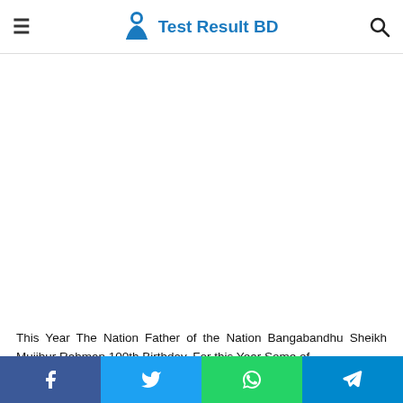Test Result BD
[Figure (other): Blank advertisement area]
This Year The Nation Father of the Nation Bangabandhu Sheikh Mujibur Rahman 100th Birthday. For this Year Some of
Social share buttons: Facebook, Twitter, WhatsApp, Telegram